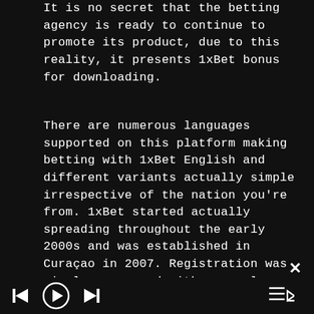It is no secret that the betting agency is ready to continue to promote its product, due to this reality, it presents 1xBet bonus for downloading.
There are numerous languages supported on this platform making betting with 1xBet English and different variants actually simple irrespective of the nation you're from. 1xBet started actually spreading throughout the early 2000s and was established in Curaçao in 2007. Registration was simple, compared with several different bookmakers, and the deposit and withdrawal choices have been certainly great. Another needed operate of the 1xbet App is that gamers can simply access their betting historic previous and use this as a useful resource for placing future
[Figure (other): Media player controls bar with previous, play, and next buttons on the left, and a playlist/queue icon on the right. A close (×) button is shown in the upper right of the controls area.]